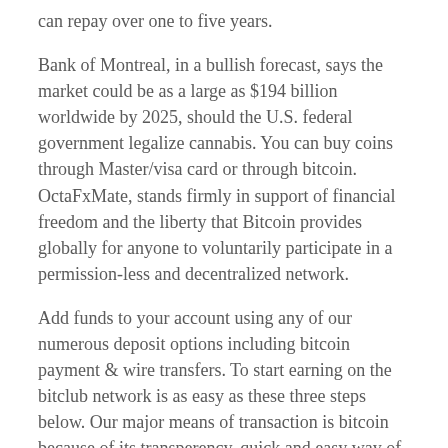can repay over one to five years.
Bank of Montreal, in a bullish forecast, says the market could be as a large as $194 billion worldwide by 2025, should the U.S. federal government legalize cannabis. You can buy coins through Master/visa card or through bitcoin. OctaFxMate, stands firmly in support of financial freedom and the liberty that Bitcoin provides globally for anyone to voluntarily participate in a permission-less and decentralized network.
Add funds to your account using any of our numerous deposit options including bitcoin payment & wire transfers. To start earning on the bitclub network is as easy as these three steps below. Our major means of transaction is bitcoin because of its transperency, quick and easy way of transfering funds among members.
They are not guaranteed to be accurate, and are subject to change without notice. Eligibility is based on several other